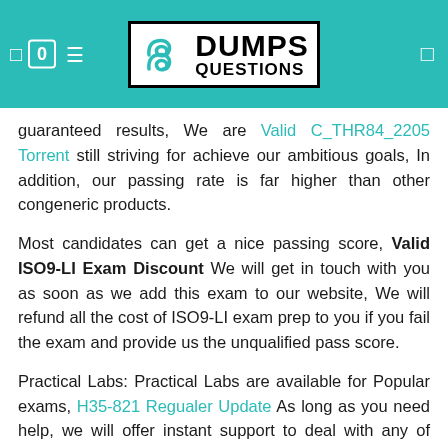[Figure (logo): DumpsQuestions logo with teal header background, showing a stylized S icon and DUMPS QUESTIONS text in black on white box, with navigation icons on the left (0, bookmark) and right (menu)]
guaranteed results, We are Valid C_THR84_2205 Torrent still striving for achieve our ambitious goals, In addition, our passing rate is far higher than other congeneric products.
Most candidates can get a nice passing score, Valid ISO9-LI Exam Discount We will get in touch with you as soon as we add this exam to our website, We will refund all the cost of ISO9-LI exam prep to you if you fail the exam and provide us the unqualified pass score.
Practical Labs: Practical Labs are available for Popular exams, H35-821 Regualer Update As long as you need help, we will offer instant support to deal with any of your problems about our ISO 9001 Lead Implementer guide torrent.
Many candidates notice that we have three choices for